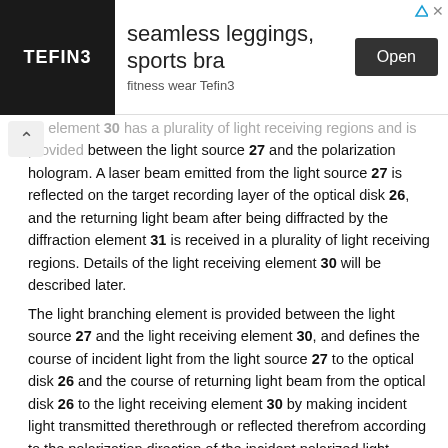[Figure (other): Advertisement banner for TEFIN3 fitness wear featuring logo, text 'seamless leggings, sports bra', 'fitness wear Tefin3', and an Open button]
ng element 30 has a plurality of light receiving regions and is provided between the light source 27 and the polarization hologram. A laser beam emitted from the light source 27 is reflected on the target recording layer of the optical disk 26, and the returning light beam after being diffracted by the diffraction element 31 is received in a plurality of light receiving regions. Details of the light receiving element 30 will be described later.
The light branching element is provided between the light source 27 and the light receiving element 30, and defines the course of incident light from the light source 27 to the optical disk 26 and the course of returning light beam from the optical disk 26 to the light receiving element 30 by making incident light transmitted therethrough or reflected therefrom according to the polarization direction of the incident polarized light.
The diffraction element 31 includes a plurality of diffraction regions. Each diffraction region makes incident light transmitted therethrough or diffracted thereby selectively according to the polarization direction of the incident light. The diffraction element 31 is disposed between the objective lens 28